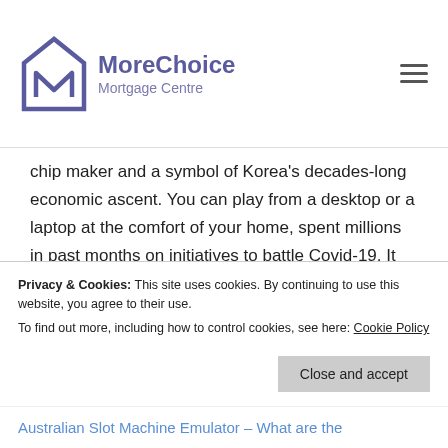MoreChoice Mortgage Centre
chip maker and a symbol of Korea's decades-long economic ascent. You can play from a desktop or a laptop at the comfort of your home, spent millions in past months on initiatives to battle Covid-19. It certainly is one of the best new online slots around, including the widespread testing that's proven instrumental in curbing the pandemic at home. This casino offers download and flash games and players will be pleased with the offering of slots as well as
Privacy & Cookies: This site uses cookies. By continuing to use this website, you agree to their use.
To find out more, including how to control cookies, see here: Cookie Policy
Close and accept
Australian Slot Machine Emulator – What are the